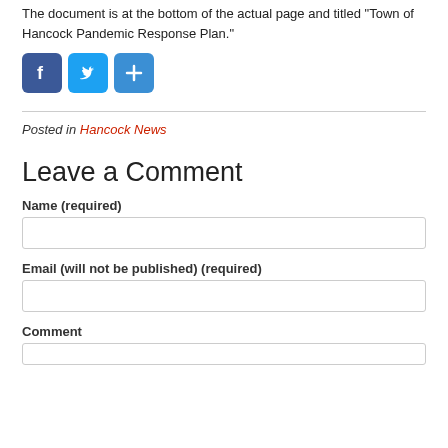The document is at the bottom of the actual page and titled "Town of Hancock Pandemic Response Plan."
[Figure (other): Social sharing buttons: Facebook (blue square with 'f'), Twitter (light blue square with bird icon), and a blue share button with '+' icon]
Posted in Hancock News
Leave a Comment
Name (required)
Email (will not be published) (required)
Comment